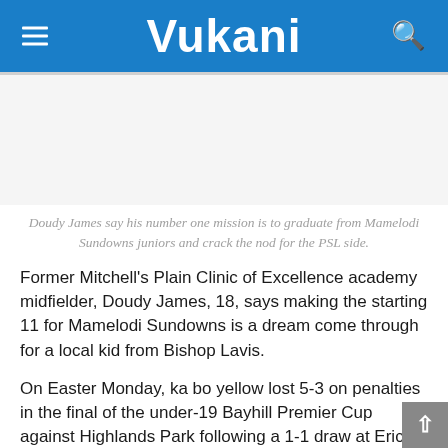Vukani
Doudy James say his number one mission is to graduate from Mamelodi Sundowns juniors and crack the nod for the PSL side.
Former Mitchell's Plain Clinic of Excellence academy midfielder, Doudy James, 18, says making the starting 11 for Mamelodi Sundowns is a dream come through for a local kid from Bishop Lavis.
On Easter Monday, ka bo yellow lost 5-3 on penalties in the final of the under-19 Bayhill Premier Cup against Highlands Park following a 1-1 draw at Erica Park sports field, in Belhar.